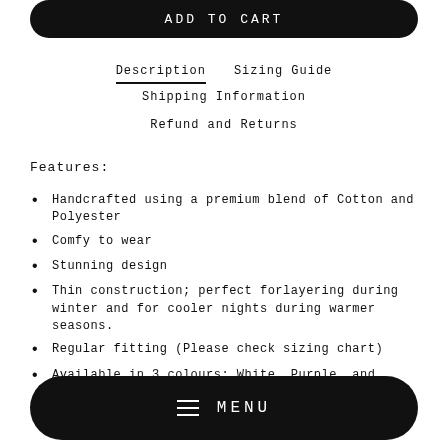ADD TO CART
Description | Sizing Guide | Shipping Information | Refund and Returns
Features:
Handcrafted using a premium blend of Cotton and Polyester
Comfy to wear
Stunning design
Thin construction; perfect forlayering during winter and for cooler nights during warmer seasons.
Regular fitting (Please check sizing chart)
Available in 3 colours; White, Purple, and Yellow
MENU